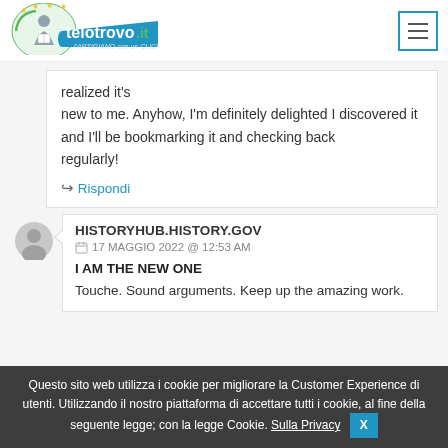[Figure (logo): telotrovo.it logo with person reading a book, blue banner, and tagline 'l'ARTIGIANO con un CLICK']
realized it's
new to me. Anyhow, I'm definitely delighted I discovered it and I'll be bookmarking it and checking back
regularly!
↪ Rispondi
HISTORYHUB.HISTORY.GOV
17 MAGGIO 2022 @ 12:53 AM
I AM THE NEW ONE
Touche. Sound arguments. Keep up the amazing work.
Questo sito web utilizza i cookie per migliorare la Customer Experience di utenti. Utilizzando il nostro piattaforma di accettare tutti i cookie, al fine della seguente legge; con la legge Cookie. Sulla Privacy X